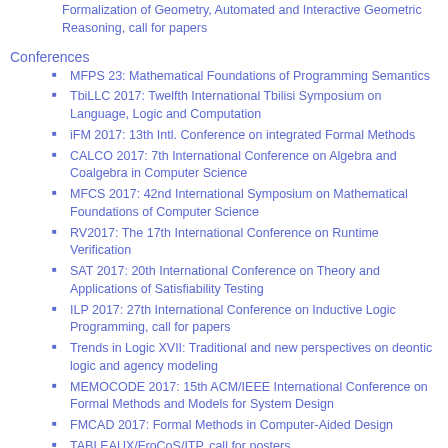Formalization of Geometry, Automated and Interactive Geometric Reasoning, call for papers
Conferences
MFPS 23: Mathematical Foundations of Programming Semantics
TbiLLC 2017: Twelfth International Tbilisi Symposium on Language, Logic and Computation
iFM 2017: 13th Intl. Conference on integrated Formal Methods
CALCO 2017: 7th International Conference on Algebra and Coalgebra in Computer Science
MFCS 2017: 42nd International Symposium on Mathematical Foundations of Computer Science
RV2017: The 17th International Conference on Runtime Verification
SAT 2017: 20th International Conference on Theory and Applications of Satisfiability Testing
ILP 2017: 27th International Conference on Inductive Logic Programming, call for papers
Trends in Logic XVII: Traditional and new perspectives on deontic logic and agency modeling
MEMOCODE 2017: 15th ACM/IEEE International Conference on Formal Methods and Models for System Design
FMCAD 2017: Formal Methods in Computer-Aided Design
TABLEAUX/FroCoS/ITP, call for posters
Workshops
IWIL 2017: 12th International Workshop on the Implementation of Logics
iFM: Integrated Formal Methods 2017